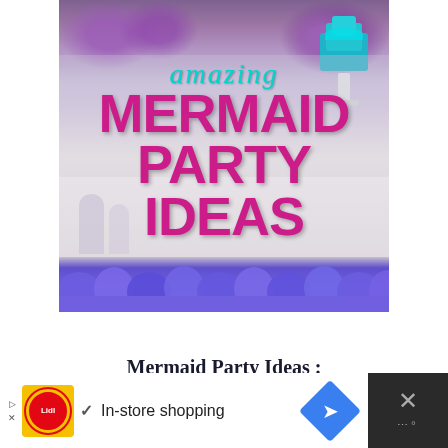[Figure (photo): Mermaid party themed image showing decorated table with purple flowers, teal cake, and purple tissue paper at bottom. Overlaid text reads 'amazing MERMAID PARTY IDEAS' in cyan and magenta colors.]
Mermaid Party Ideas : Mermaid Pool Party
[Figure (infographic): Advertisement banner with Lidl logo, in-store shopping text, navigation arrow button, and close button.]